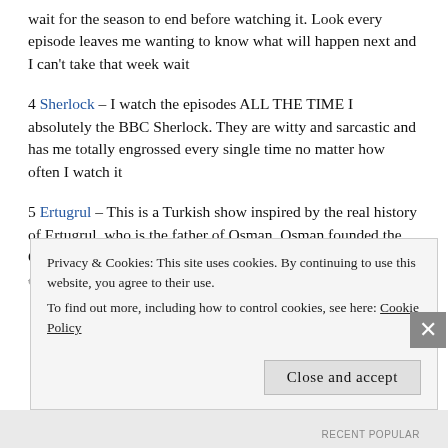wait for the season to end before watching it. Look every episode leaves me wanting to know what will happen next and I can't take that week wait
4 Sherlock – I watch the episodes ALL THE TIME I absolutely the BBC Sherlock. They are witty and sarcastic and has me totally engrossed every single time no matter how often I watch it
5 Ertugrul – This is a Turkish show inspired by the real history of Ertugrul, who is the father of Osman. Osman founded the Ottoman Empire. I am completely and entirely addicted and obsessed with the show and I highly
Privacy & Cookies: This site uses cookies. By continuing to use this website, you agree to their use. To find out more, including how to control cookies, see here: Cookie Policy
Close and accept